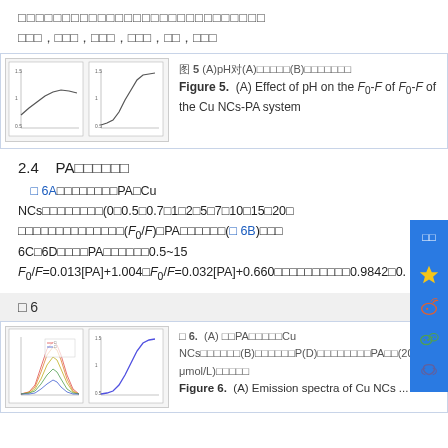□□□□□□□□□□□□□□□□□□□□□□□□□□□□
□□□，□□□，□□□，□□□，□□，□□□
图 5  (A)pH对(A)□□□□□(B)□□□□□□□
Figure 5.  (A) Effect of pH on the F₀-F of ... F₀-F of the Cu NCs-PA system
2.4   PA□□□□□□
□ 6A□□□□□□□□PA□Cu NCs□□□□□□□□(0□0.5□0.7□1□2□5□7□10□15□20□...□□□□□□□□□□□□□□(F₀/F)□PA□□□□□□(□ 6B)□□□ 6C□6D□□□□PA□□□□□□0.5~15 F₀/F=0.013[PA]+1.004□F₀/F=0.032[PA]+0.660□□□□□□□□□□0.9842□0.
□ 6
□ 6.  (A) □□PA□□□□□Cu NCs□□□□□□(B)□□□□□□P(D)□□□□□□□□PA□□(20~70 μmol/L)□□□□□
Figure 6.  (A) Emission spectra of Cu NCs ...